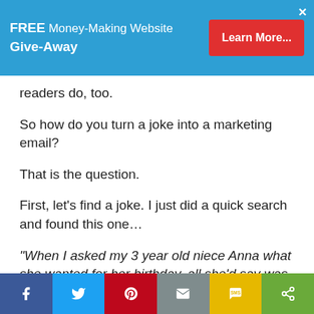[Figure (infographic): Blue ad banner overlay: FREE Money-Making Website Give-Away with red Learn More button and X close button]
readers do, too.
So how do you turn a joke into a marketing email?
That is the question.
First, let's find a joke. I just did a quick search and found this one…
“When I asked my 3 year old niece Anna what she wanted for her birthday, all she’d say was “reading glasses.”
Thinking it must be some sort of preschool fashion trend, I bought her a pair with plain glass lenses. A week later, I picked Anna up from daycare and asked where her glasses were.
[Figure (infographic): Bottom social share bar with Facebook, Twitter, Pinterest, Email, SMS, and Share buttons]